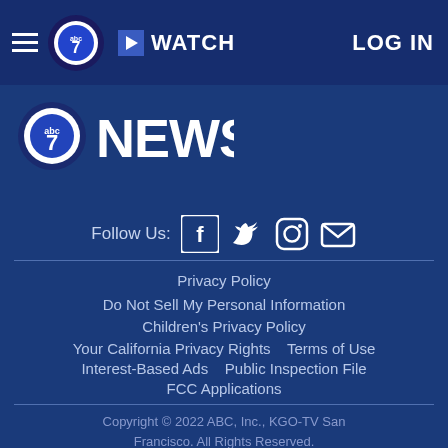≡ abc7 ▶ WATCH  LOG IN
[Figure (logo): ABC 7 News logo with globe icon]
Follow Us:  [Facebook] [Twitter] [Instagram] [Email]
Privacy Policy
Do Not Sell My Personal Information
Children's Privacy Policy
Your California Privacy Rights    Terms of Use
Interest-Based Ads    Public Inspection File
FCC Applications
Copyright © 2022 ABC, Inc., KGO-TV San Francisco. All Rights Reserved.